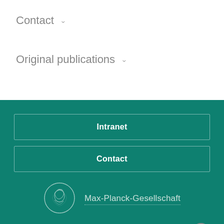Contact ˅
Original publications ˅
Intranet
Contact
[Figure (logo): Max-Planck-Gesellschaft circular coin logo with Minerva profile]
Max-Planck-Gesellschaft
Imprint   Privacy Policy